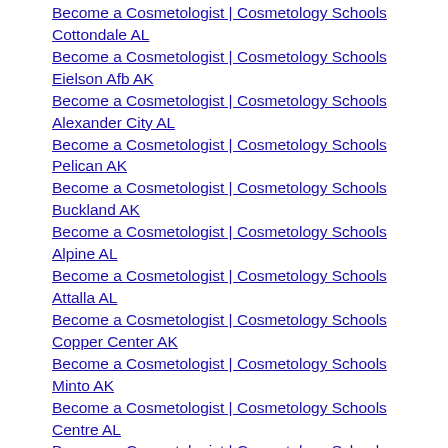Become a Cosmetologist | Cosmetology Schools Cottondale AL
Become a Cosmetologist | Cosmetology Schools Eielson Afb AK
Become a Cosmetologist | Cosmetology Schools Alexander City AL
Become a Cosmetologist | Cosmetology Schools Pelican AK
Become a Cosmetologist | Cosmetology Schools Buckland AK
Become a Cosmetologist | Cosmetology Schools Alpine AL
Become a Cosmetologist | Cosmetology Schools Attalla AL
Become a Cosmetologist | Cosmetology Schools Copper Center AK
Become a Cosmetologist | Cosmetology Schools Minto AK
Become a Cosmetologist | Cosmetology Schools Centre AL
Become a Cosmetologist | Cosmetology Schools Pilot Point AK
Become a Cosmetologist | Cosmetology Schools Abbeville AL
Become a Cosmetologist | Cosmetology Schools Shageluk AK
Become a Cosmetologist | Cosmetology Schools Ward Cove AK
Become a Cosmetologist | Cosmetology Schools Noatak AK
Become a Cosmetologist | Cosmetology Schools Salcha AK
Become a Cosmetologist | Cosmetology Schools Toksook Bay AK